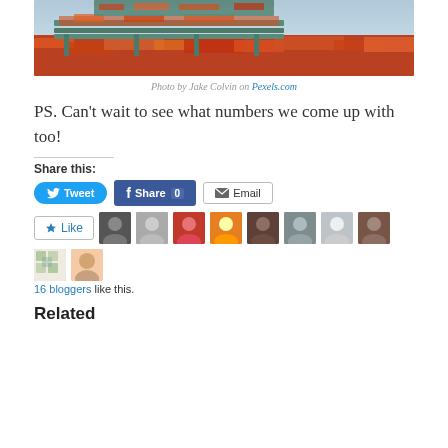[Figure (photo): Photo of a park bench covered with fallen red and orange autumn leaves, with a pond or water visible in background.]
Photo by Jake Colvin on Pexels.com
PS. Can’t wait to see what numbers we come up with too!
Share this:
[Figure (screenshot): Social share buttons: Tweet (Twitter), Share 0 (Facebook), Email]
[Figure (infographic): Like button and 10 blogger avatar thumbnails]
16 bloggers like this.
Related